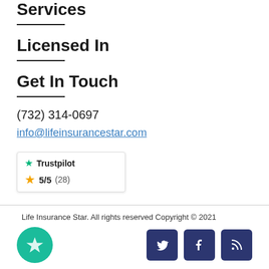Services
Licensed In
Get In Touch
(732) 314-0697
info@lifeinsurancestar.com
[Figure (logo): Trustpilot badge showing 5/5 (28) rating with green star logo]
Life Insurance Star. All rights reserved Copyright © 2021
[Figure (logo): Teal circle with white star icon, and three social media icons: Twitter, Facebook, RSS feed on dark navy background]